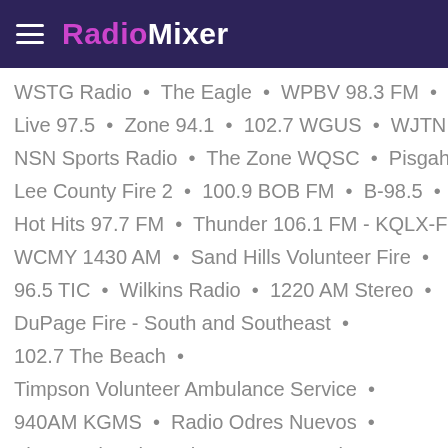RadioMixer
WSTG Radio • The Eagle • WPBV 98.3 FM •
Live 97.5 • Zone 94.1 • 102.7 WGUS • WJTN •
NSN Sports Radio • The Zone WQSC • Pisgah Fire •
Lee County Fire 2 • 100.9 BOB FM • B-98.5 •
Hot Hits 97.7 FM • Thunder 106.1 FM - KQLX-FM •
WCMY 1430 AM • Sand Hills Volunteer Fire •
96.5 TIC • Wilkins Radio • 1220 AM Stereo •
DuPage Fire - South and Southeast •
102.7 The Beach •
Timpson Volunteer Ambulance Service •
940AM KGMS • Radio Odres Nuevos •
The Good Path • The Avenue • Bob FM •